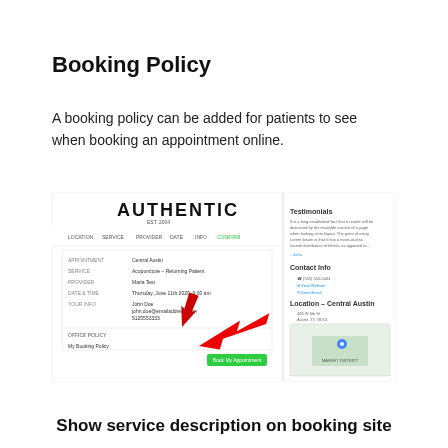Booking Policy
A booking policy can be added for patients to see when booking an appointment online.
[Figure (screenshot): Screenshot of an online booking confirmation page for 'Authentic' showing a booking policy section with a red arrow pointing to 'My Booking Policy' text, along with contact info and a map showing Central Austin location.]
Show service description on booking site